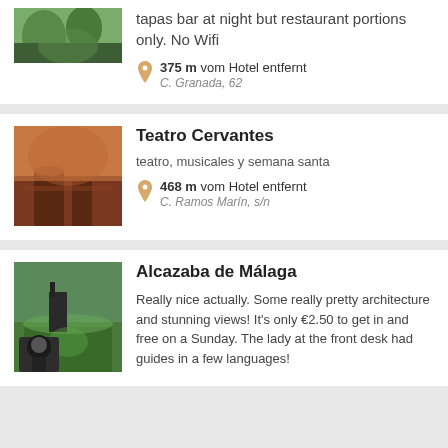tapas bar at night but restaurant portions only. No Wifi
375 m vom Hotel entfernt
C. Granada, 62
Teatro Cervantes
teatro, musicales y semana santa
468 m vom Hotel entfernt
C. Ramos Marín, s/n
Alcazaba de Málaga
Really nice actually. Some really pretty architecture and stunning views! It's only €2.50 to get in and free on a Sunday. The lady at the front desk had guides in a few languages!